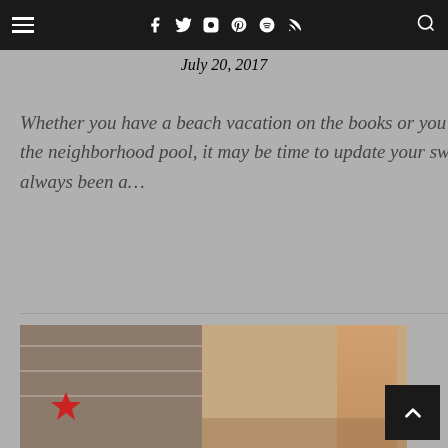Navigation bar with hamburger menu and social icons (Facebook, Twitter, Instagram, Pinterest, Spotify, RSS, Search)
July 20, 2017
Whether you have a beach vacation on the books or you're just heading to the neighborhood pool, it may be time to update your swimwear game. I have always been a…
[Figure (photo): A woman in a striped jumpsuit posing in a bar/restaurant setting with bar stools and shelving with bottles in the background. A red star decoration is visible.]